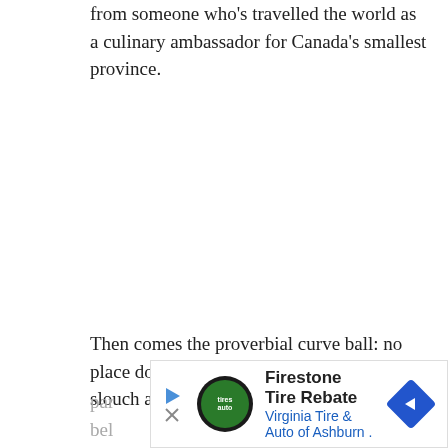from someone who's travelled the world as a culinary ambassador for Canada's smallest province.
Then comes the proverbial curve ball: no place does carrots like PEI. The island is no slouch at par... bel...
[Figure (other): Advertisement banner: Firestone Tire Rebate - Virginia Tire & Auto of Ashburn, with logo and navigation arrow icon]